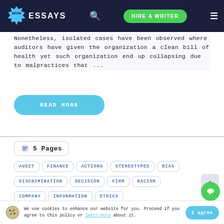[Figure (logo): WOW ESSAYS website header with logo, search icon, HIRE A WRITER button, and hamburger menu on dark navy background]
Nonetheless, isolated cases have been observed where auditors have given the organization a clean bill of health yet such organization end up collapsing due to malpractices that ...
READ MORE
5 Pages
AUDIT
FINANCE
ACTIONS
STEREOTYPES
BIAS
DISCRIMINATION
DECISION
FIRM
RACISM
COMPANY
INFORMATION
ETHICS
We use cookies to enhance our website for you. Proceed if you agree to this policy or learn more about it.